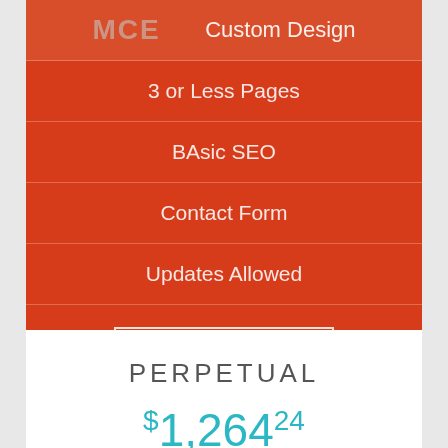Custom Design
3 or Less Pages
BAsic SEO
Contact Form
Updates Allowed
BUY NOW
PERPETUAL
$1,264.24